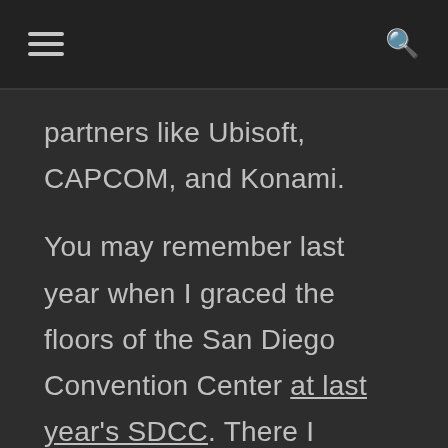[menu icon] [search icon]
partners like Ubisoft, CAPCOM, and Konami.
You may remember last year when I graced the floors of the San Diego Convention Center at last year's SDCC. There I gushed about all the upcoming games, the olfactory offenses (that means bad smells), and the craziness of it all. Probably won't be too different this year but we'll see in the recap coming soon.